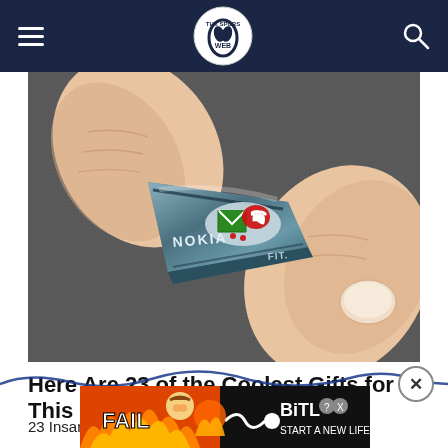The Spurs Web
[Figure (photo): Close-up photo of a Nokia 'FIT' finger-ring phone concept being worn on a person's finger, showing a small device with a green envelope icon and red phone icon on its surface, with NOKIA branding visible]
Here Are 23 of the Coolest Gifts for This 2022
23 Insanely Cool Gadgets You'll Regret Not Getting
[Figure (screenshot): Advertisement banner: BitLife game ad with 'FAIL' text, cartoon character, flames, and 'START A NEW LIFE' call to action on dark background]